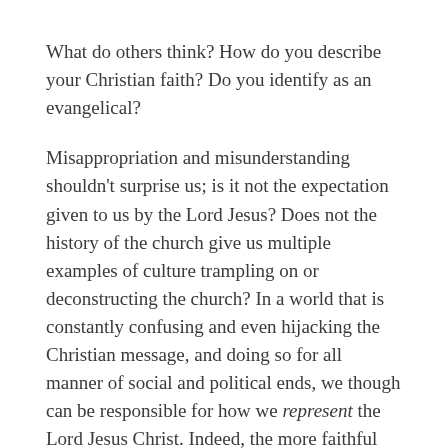What do others think? How do you describe your Christian faith? Do you identify as an evangelical?
Misappropriation and misunderstanding shouldn't surprise us; is it not the expectation given to us by the Lord Jesus? Does not the history of the church give us multiple examples of culture trampling on or deconstructing the church? In a world that is constantly confusing and even hijacking the Christian message, and doing so for all manner of social and political ends, we though can be responsible for how we represent the Lord Jesus Christ. Indeed, the more faithful we are to God's word, the more useful we will be to society. So whether we call ourselves evangelical, Gospel, orthodox, or just plain and simple Christian, let's do it with a